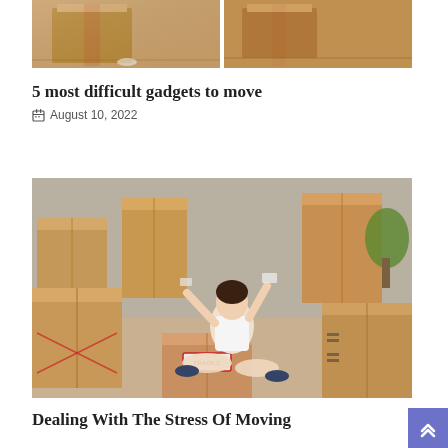[Figure (photo): Two-panel photo showing cardboard moving boxes stacked on a wooden floor]
5 most difficult gadgets to move
August 10, 2022
[Figure (photo): Woman sitting on the floor surrounded by many cardboard moving boxes, tossing items in the air and smiling, with a fragile-labeled box in her lap]
Dealing With The Stress Of Moving